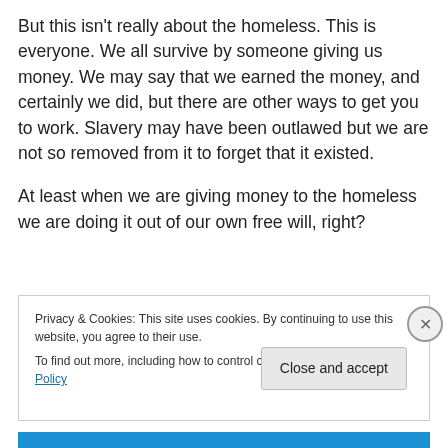But this isn't really about the homeless. This is everyone. We all survive by someone giving us money. We may say that we earned the money, and certainly we did, but there are other ways to get you to work. Slavery may have been outlawed but we are not so removed from it to forget that it existed.
At least when we are giving money to the homeless we are doing it out of our own free will, right?
Privacy & Cookies: This site uses cookies. By continuing to use this website, you agree to their use.
To find out more, including how to control cookies, see here: Cookie Policy